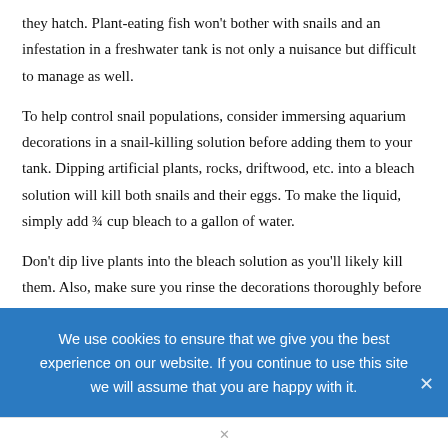they hatch. Plant-eating fish won't bother with snails and an infestation in a freshwater tank is not only a nuisance but difficult to manage as well.
To help control snail populations, consider immersing aquarium decorations in a snail-killing solution before adding them to your tank. Dipping artificial plants, rocks, driftwood, etc. into a bleach solution will kill both snails and their eggs. To make the liquid, simply add ¾ cup bleach to a gallon of water.
Don't dip live plants into the bleach solution as you'll likely kill them. Also, make sure you rinse the decorations thoroughly before adding them to the tank to guarantee all traces of bleach have.
We use cookies to ensure that we give you the best experience on our website. If you continue to use this site we will assume that you are happy with it.